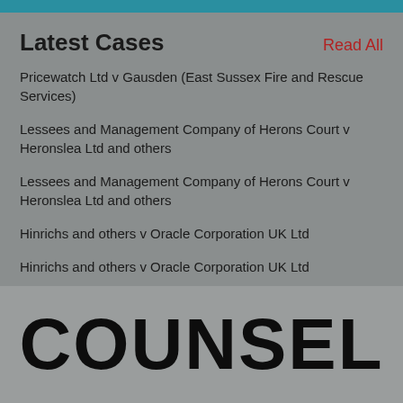Latest Cases
Read All
Pricewatch Ltd v Gausden (East Sussex Fire and Rescue Services)
Lessees and Management Company of Herons Court v Heronslea Ltd and others
Lessees and Management Company of Herons Court v Heronslea Ltd and others
Hinrichs and others v Oracle Corporation UK Ltd
Hinrichs and others v Oracle Corporation UK Ltd
COUNSEL